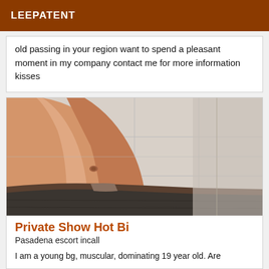LEEPATENT
old passing in your region want to spend a pleasant moment in my company contact me for more information kisses
[Figure (photo): Close-up photo of a person's bare torso and midsection wearing dark jeans, taken in a tiled room.]
Private Show Hot Bi
Pasadena escort incall
I am a young bg, muscular, dominating 19 year old. Are